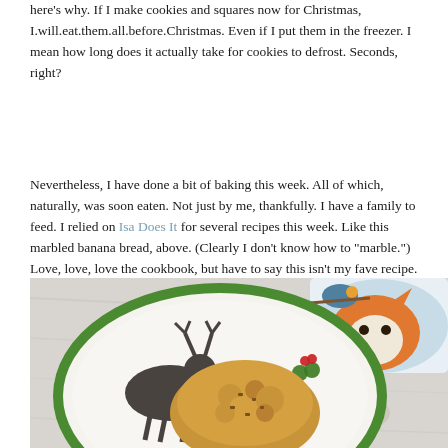here's why. If I make cookies and squares now for Christmas, I.will.eat.them.all.before.Christmas. Even if I put them in the freezer. I mean how long does it actually take for cookies to defrost. Seconds, right?
Nevertheless, I have done a bit of baking this week. All of which, naturally, was soon eaten. Not just by me, thankfully. I have a family to feed. I relied on Isa Does It for several recipes this week. Like this marbled banana bread, above. (Clearly I don't know how to "marble.") Love, love, love the cookbook, but have to say this isn't my fave recipe.
[Figure (photo): A top-down photo of a Christmas-themed plate with a green rim and reindeer design, containing a golden-brown oat cookie or crumble, with a fox-themed children's mug visible in the upper right background, all on a marble surface.]